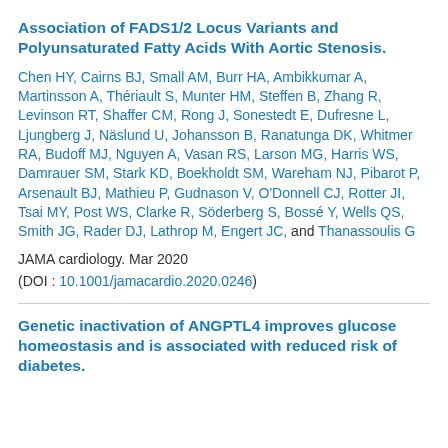Association of FADS1/2 Locus Variants and Polyunsaturated Fatty Acids With Aortic Stenosis.
Chen HY, Cairns BJ, Small AM, Burr HA, Ambikkumar A, Martinsson A, Thériault S, Munter HM, Steffen B, Zhang R, Levinson RT, Shaffer CM, Rong J, Sonestedt E, Dufresne L, Ljungberg J, Näslund U, Johansson B, Ranatunga DK, Whitmer RA, Budoff MJ, Nguyen A, Vasan RS, Larson MG, Harris WS, Damrauer SM, Stark KD, Boekholdt SM, Wareham NJ, Pibarot P, Arsenault BJ, Mathieu P, Gudnason V, O'Donnell CJ, Rotter JI, Tsai MY, Post WS, Clarke R, Söderberg S, Bossé Y, Wells QS, Smith JG, Rader DJ, Lathrop M, Engert JC, and Thanassoulis G
JAMA cardiology. Mar 2020
(DOI : 10.1001/jamacardio.2020.0246)
Genetic inactivation of ANGPTL4 improves glucose homeostasis and is associated with reduced risk of diabetes.